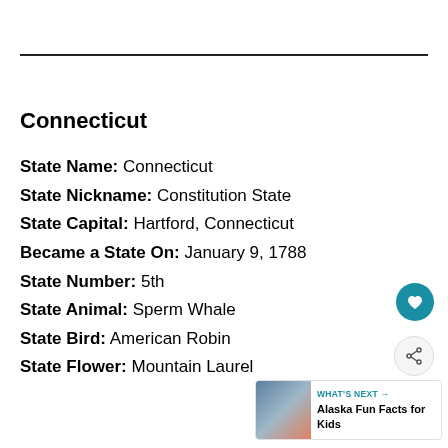Connecticut
State Name: Connecticut
State Nickname: Constitution State
State Capital: Hartford, Connecticut
Became a State On: January 9, 1788
State Number: 5th
State Animal: Sperm Whale
State Bird: American Robin
State Flower: Mountain Laurel